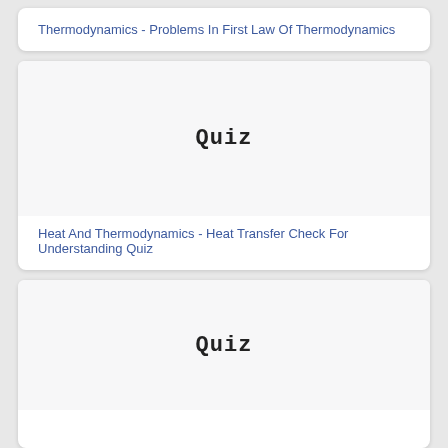Thermodynamics - Problems In First Law Of Thermodynamics
[Figure (illustration): Quiz label image with handwritten-style 'Quiz' text on light background]
Heat And Thermodynamics - Heat Transfer Check For Understanding Quiz
[Figure (illustration): Quiz label image with handwritten-style 'Quiz' text on light background]